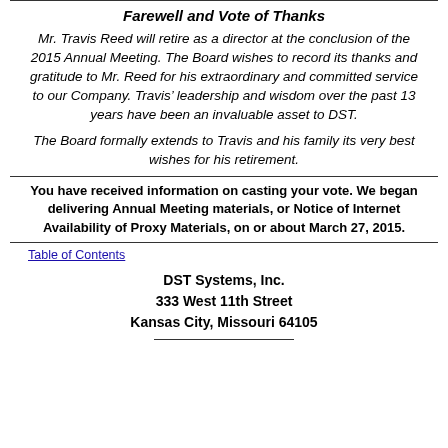Farewell and Vote of Thanks
Mr. Travis Reed will retire as a director at the conclusion of the 2015 Annual Meeting. The Board wishes to record its thanks and gratitude to Mr. Reed for his extraordinary and committed service to our Company. Travis’ leadership and wisdom over the past 13 years have been an invaluable asset to DST.
The Board formally extends to Travis and his family its very best wishes for his retirement.
You have received information on casting your vote. We began delivering Annual Meeting materials, or Notice of Internet Availability of Proxy Materials, on or about March 27, 2015.
Table of Contents
DST Systems, Inc.
333 West 11th Street
Kansas City, Missouri 64105